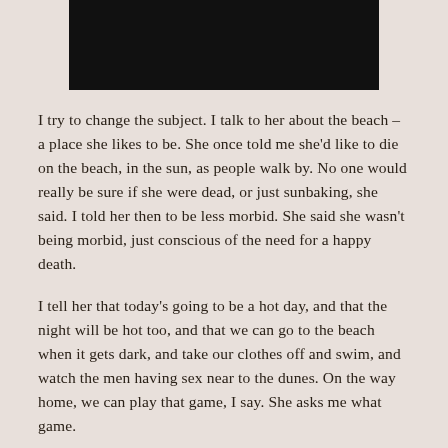[Figure (photo): Dark/black image at the top of the page, partially cropped]
I try to change the subject. I talk to her about the beach – a place she likes to be. She once told me she’d like to die on the beach, in the sun, as people walk by. No one would really be sure if she were dead, or just sunbaking, she said. I told her then to be less morbid. She said she wasn’t being morbid, just conscious of the need for a happy death.
I tell her that today’s going to be a hot day, and that the night will be hot too, and that we can go to the beach when it gets dark, and take our clothes off and swim, and watch the men having sex near to the dunes. On the way home, we can play that game, I say. She asks me what game.